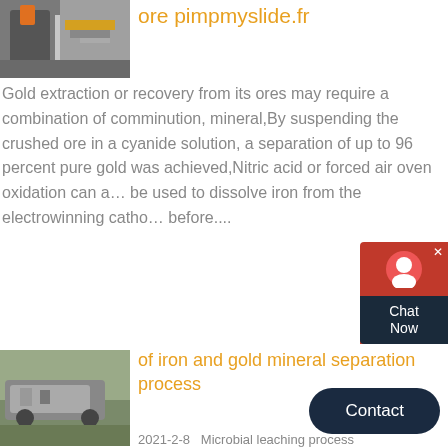[Figure (photo): Industrial mining or crushing equipment, orange and metal structures]
ore pimpmyslide.fr
Gold extraction or recovery from its ores may require a combination of comminution, mineral,By suspending the crushed ore in a cyanide solution, a separation of up to 96 percent pure gold was achieved,Nitric acid or forced air oven oxidation can also be used to dissolve iron from the electrowinning cathode before....
[Figure (photo): Mining crusher machine outdoors]
of iron and gold mineral separation process
2021-2-8   Microbial leaching process